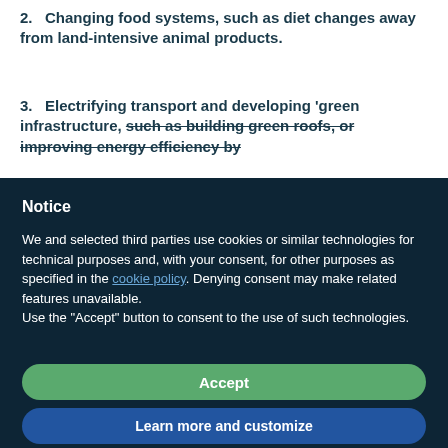2.   Changing food systems, such as diet changes away from land-intensive animal products.
3.   Electrifying transport and developing 'green infrastructure, such as building green roofs, or improving energy efficiency by
Notice
We and selected third parties use cookies or similar technologies for technical purposes and, with your consent, for other purposes as specified in the cookie policy. Denying consent may make related features unavailable.
Use the “Accept” button to consent to the use of such technologies.
Accept
Learn more and customize